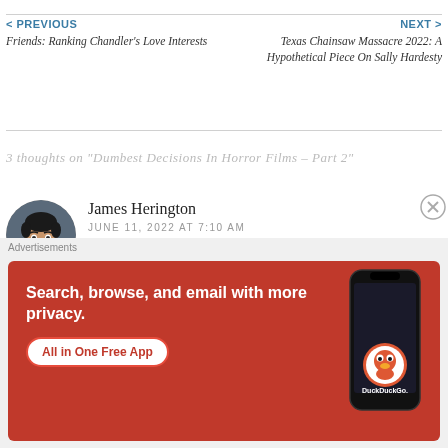< PREVIOUS
Friends: Ranking Chandler's Love Interests
NEXT >
Texas Chainsaw Massacre 2022: A Hypothetical Piece On Sally Hardesty
3 thoughts on "Dumbest Decisions In Horror Films – Part 2"
James Herington
JUNE 11, 2022 AT 7:10 AM
[Figure (photo): Circular avatar photo of James Herington, a young man with dark hair and blue jacket]
[Figure (infographic): DuckDuckGo advertisement banner on orange/red background: 'Search, browse, and email with more privacy. All in One Free App' with phone image and DuckDuckGo logo]